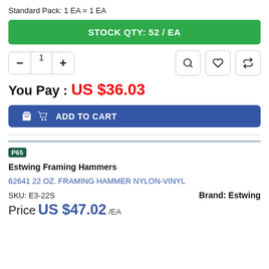Standard Pack: 1 EA = 1 EA
STOCK QTY: 52 / EA
You Pay : US $36.03
ADD TO CART
[Figure (screenshot): P65 warning badge (green background, white text)]
Estwing Framing Hammers
62641 22 OZ. FRAMING HAMMER NYLON-VINYL
SKU: E3-22S
Brand: Estwing
Price US $47.02 /EA